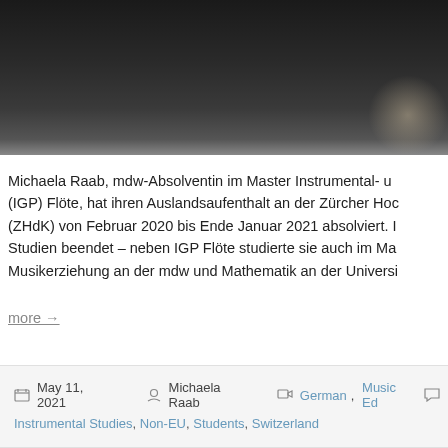[Figure (photo): Stage performance photo showing a performer in white dress on a dark stage, partially visible at top of page]
Michaela Raab, mdw-Absolventin im Master Instrumental- u... (IGP) Flöte, hat ihren Auslandsaufenthalt an der Zürcher Hoc... (ZHdK) von Februar 2020 bis Ende Januar 2021 absolviert. I... Studien beendet – neben IGP Flöte studierte sie auch im Ma... Musikerziehung an der mdw und Mathematik an der Universi...
more →
May 11, 2021   Michaela Raab   German, Music Ed... Instrumental Studies, Non-EU, Students, Switzerland